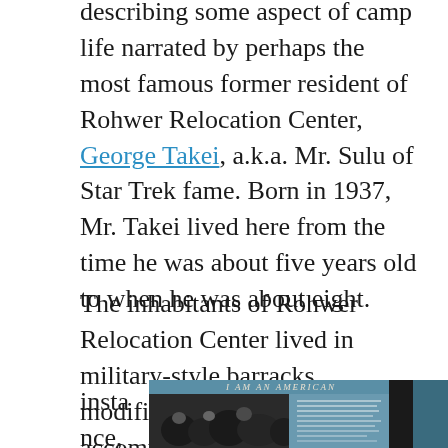describing some aspect of camp life narrated by perhaps the most famous former resident of Rohwer Relocation Center, George Takei, a.k.a. Mr. Sulu of Star Trek fame. Born in 1937, Mr. Takei lived here from the time he was about five years old to when he was about eight.
The inhabitants of Rohwer Relocation Center lived in military-style barracks, modified somewhat to accommodate families, but still exceptionally Spartan for any family.   In one
instance, Mr.
[Figure (photo): A museum exhibit panel titled 'I Am An American' showing a black and white photograph of people and text panels about Japanese American internment]